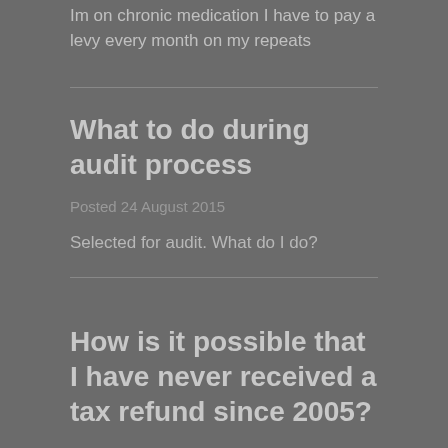Im on chronic medication I have to pay a levy every month on my repeats
What to do during audit process
Posted 24 August 2015
Selected for audit. What do I do?
How is it possible that I have never received a tax refund since 2005?
Posted 21 August 2015